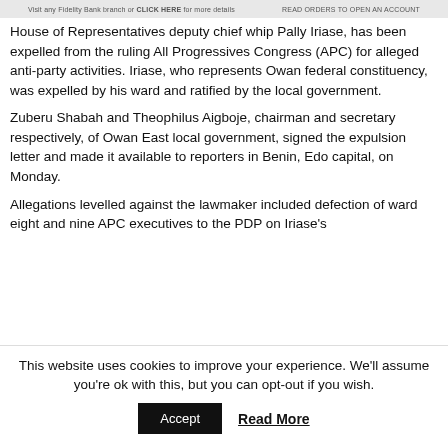Visit any Fidelity Bank branch or [CLICK HERE] for more details ... [image] ... READ ORDERS TO OPEN AN ACCOUNT
House of Representatives deputy chief whip Pally Iriase, has been expelled from the ruling All Progressives Congress (APC) for alleged anti-party activities. Iriase, who represents Owan federal constituency, was expelled by his ward and ratified by the local government.
Zuberu Shabah and Theophilus Aigboje, chairman and secretary respectively, of Owan East local government, signed the expulsion letter and made it available to reporters in Benin, Edo capital, on Monday.
Allegations levelled against the lawmaker included defection of ward eight and nine APC executives to the PDP on Iriase's
This website uses cookies to improve your experience. We'll assume you're ok with this, but you can opt-out if you wish.
Accept   Read More